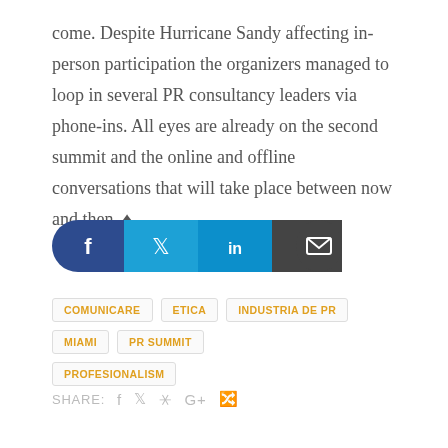come. Despite Hurricane Sandy affecting in-person participation the organizers managed to loop in several PR consultancy leaders via phone-ins. All eyes are already on the second summit and the online and offline conversations that will take place between now and then. ♦
[Figure (other): Social share buttons bar with Facebook, Twitter, LinkedIn, and Email icons]
COMUNICARE  ETICA  INDUSTRIA DE PR  MIAMI  PR SUMMIT  PROFESIONALISM
SHARE: f  Twitter  Pinterest  Google+  Stumbleupon